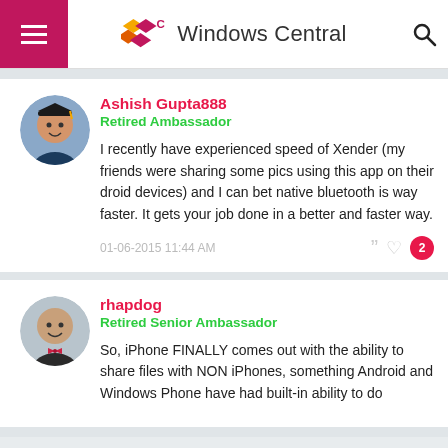Windows Central
Ashish Gupta888
Retired Ambassador
I recently have experienced speed of Xender (my friends were sharing some pics using this app on their droid devices) and I can bet native bluetooth is way faster. It gets your job done in a better and faster way.
01-06-2015 11:44 AM
rhapdog
Retired Senior Ambassador
So, iPhone FINALLY comes out with the ability to share files with NON iPhones, something Android and Windows Phone have had built-in ability to do